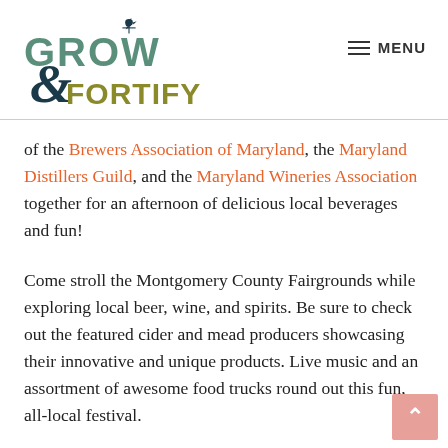[Figure (logo): Grow & Fortify logo with rooster weather vane, teal/green GROW text, olive FORTIFY text, dark teal ampersand, and VALUE-ADDED AGRICULTURE subtitle]
MENU
of the Brewers Association of Maryland, the Maryland Distillers Guild, and the Maryland Wineries Association together for an afternoon of delicious local beverages and fun!
Come stroll the Montgomery County Fairgrounds while exploring local beer, wine, and spirits. Be sure to check out the featured cider and mead producers showcasing their innovative and unique products. Live music and an assortment of awesome food trucks round out this fun, all-local festival.